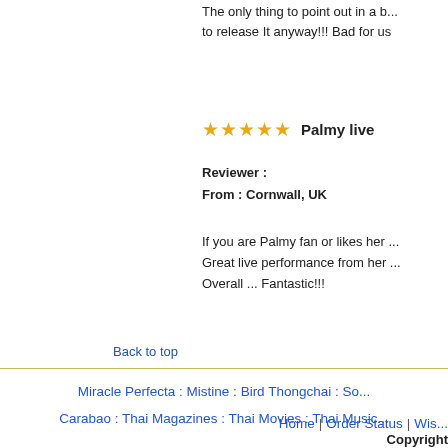The only thing to point out in a b... to release It anyway!!! Bad for us
[Figure (other): Five gold/yellow stars rating icon]
Palmy live
Reviewer :
From : Cornwall, UK
If you are Palmy fan or likes her ... Great live performance from her ... Overall ... Fantastic!!!
Back to top
Miracle Perfecta : Mistine : Bird Thongchai : So... Carabao : Thai Magazines : Thai Movies : Thai Music...
Home | Order Status | Wis...
Copyright